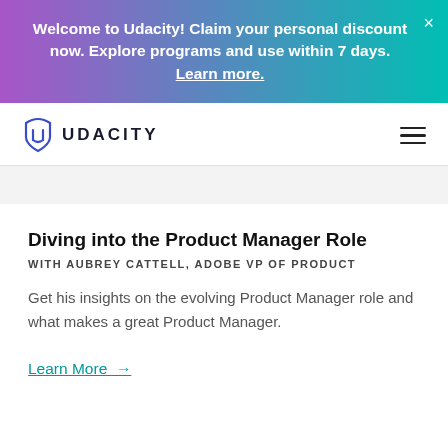Welcome to Udacity! Claim your personal discount now. Explore programs and use within 7 days. Learn more.
[Figure (logo): Udacity logo with shield icon and UDACITY wordmark]
Diving into the Product Manager Role
WITH AUBREY CATTELL, ADOBE VP OF PRODUCT
Get his insights on the evolving Product Manager role and what makes a great Product Manager.
Learn More →